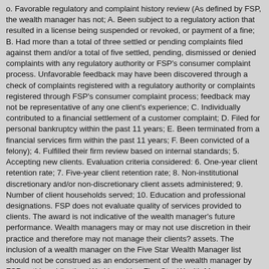o. Favorable regulatory and complaint history review (As defined by FSP, the wealth manager has not; A. Been subject to a regulatory action that resulted in a license being suspended or revoked, or payment of a fine; B. Had more than a total of three settled or pending complaints filed against them and/or a total of five settled, pending, dismissed or denied complaints with any regulatory authority or FSP's consumer complaint process. Unfavorable feedback may have been discovered through a check of complaints registered with a regulatory authority or complaints registered through FSP's consumer complaint process; feedback may not be representative of any one client's experience; C. Individually contributed to a financial settlement of a customer complaint; D. Filed for personal bankruptcy within the past 11 years; E. Been terminated from a financial services firm within the past 11 years; F. Been convicted of a felony); 4. Fulfilled their firm review based on internal standards; 5. Accepting new clients. Evaluation criteria considered: 6. One-year client retention rate; 7. Five-year client retention rate; 8. Non-institutional discretionary and/or non-discretionary client assets administered; 9. Number of client households served; 10. Education and professional designations. FSP does not evaluate quality of services provided to clients. The award is not indicative of the wealth manager's future performance. Wealth managers may or may not use discretion in their practice and therefore may not manage their clients? assets. The inclusion of a wealth manager on the Five Star Wealth Manager list should not be construed as an endorsement of the wealth manager by FSP or this publication. Working with a Five Star Wealth Manager or any wealth manager is no guarantee as to future investment success, nor is there any guarantee that the selected wealth managers will be awarded this accomplishment by FSP in the future. 3,133 Houston-area wealth managers were considered for the award; 173 (6% of candidates) were named 2021 Five Star Wealth Managers. 2020: 3,219 considered, 174 winners; 2019: 2,992 considered, 209 winners; 2018: 3,114 considered, 218 winners; 2017: 2000 considered, 228 winners; 2016: 1763 considered, 437 winners; 2015: 2289 considered, 408 winners; 2014: 3958 considered, 410 winners; 2013: 2001 considered, 504 winners; 2012: 2105 considered, 410 winners;